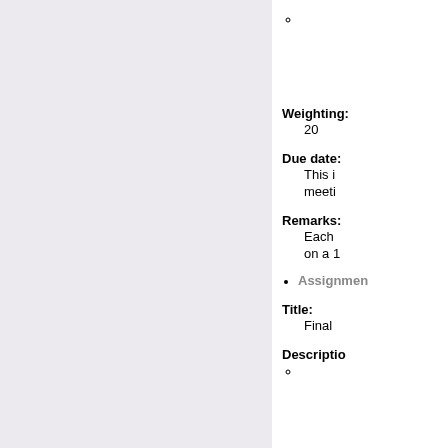○
Weighting: 20
Due date: This i meeti
Remarks: Each on a 1
Assignment
Title: Final
Description ○